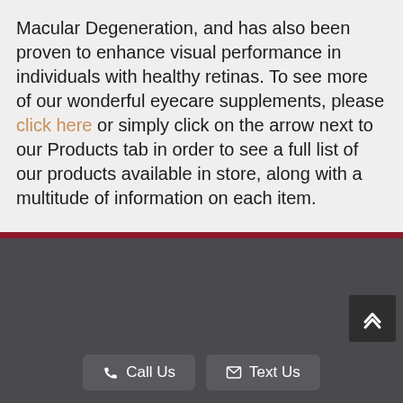Macular Degeneration, and has also been proven to enhance visual performance in individuals with healthy retinas. To see more of our wonderful eyecare supplements, please click here or simply click on the arrow next to our Products tab in order to see a full list of our products available in store, along with a multitude of information on each item.
[Figure (other): Dark charcoal footer section with Call Us and Text Us buttons and a scroll-to-top arrow button]